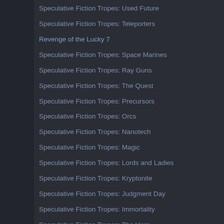Speculative Fiction Tropes: Used Future
Speculative Fiction Tropes: Teleporters
Revenge of the Lucky 7
Speculative Fiction Tropes: Space Marines
Speculative Fiction Tropes: Ray Guns
Speculative Fiction Tropes: The Quest
Speculative Fiction Tropes: Precursors
Speculative Fiction Tropes: Orcs
Speculative Fiction Tropes: Nanotech
Speculative Fiction Tropes: Magic
Speculative Fiction Tropes: Lords and Ladies
Speculative Fiction Tropes: Kryptonite
Speculative Fiction Tropes: Judgment Day
Speculative Fiction Tropes: Immortality
Speculative Fiction Tropes: The Hero
Speculative Fiction Tropes: Gods
Speculative Fiction Tropes: FTL